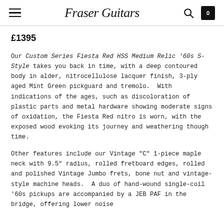Fraser Guitars
£1395
Our Custom Series Fiesta Red HSS Medium Relic '60s S-Style takes you back in time, with a deep contoured body in alder, nitrocellulose lacquer finish, 3-ply aged Mint Green pickguard and tremolo.  With indications of the ages, such as discoloration of plastic parts and metal hardware showing moderate signs of oxidation, the Fiesta Red nitro is worn, with the exposed wood evoking its journey and weathering though time.
Other features include our Vintage "C" 1-piece maple neck with 9.5" radius, rolled fretboard edges, rolled and polished Vintage Jumbo frets, bone nut and vintage-style machine heads.  A duo of hand-wound single-coil '60s pickups are accompanied by a JEB PAF in the bridge, offering lower noise performance...